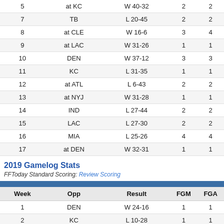| Week | Opp | Result | FGM | FGA |
| --- | --- | --- | --- | --- |
| 5 | at KC | W 40-32 | 2 | 2 |
| 7 | TB | L 20-45 | 2 | 2 |
| 8 | at CLE | W 16-6 | 3 | 4 |
| 9 | at LAC | W 31-26 | 1 | 1 |
| 10 | DEN | W 37-12 | 3 | 3 |
| 11 | KC | L 31-35 | 1 | 1 |
| 12 | at ATL | L 6-43 | 2 | 2 |
| 13 | at NYJ | W 31-28 | 1 | 1 |
| 14 | IND | L 27-44 | 2 | 2 |
| 15 | LAC | L 27-30 | 2 | 2 |
| 16 | MIA | L 25-26 | 4 | 4 |
| 17 | at DEN | W 32-31 | 1 | 1 |
2019 Gamelog Stats
FFToday Standard Scoring: Review Scoring
| Week | Opp | Result | FGM | FGA |
| --- | --- | --- | --- | --- |
| 1 | DEN | W 24-16 | 1 | 1 |
| 2 | KC | L 10-28 | 1 | 1 |
| 3 | at MIN | L 14-34 | 0 | 1 |
| 4 | at IND | W 31-24 | 1 | 1 |
| 5 | CHI | W 24-21 | 1 | 1 |